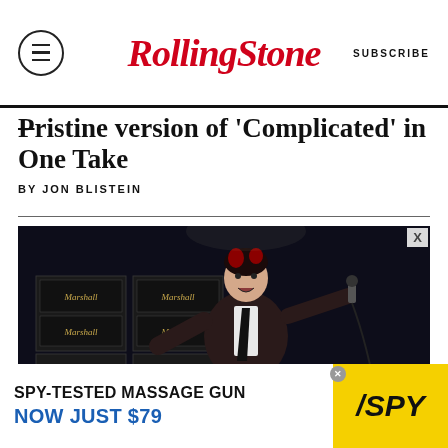Rolling Stone | SUBSCRIBE
Pristine Version of 'Complicated' in One Take
BY JON BLISTEIN
[Figure (photo): A male rock performer with red-tipped dark hair, wearing a dark suit and tie and white shirt, holding a microphone stand dramatically on stage with Marshall amplifiers behind him. He is making a rock hand gesture with his left hand.]
[Figure (infographic): Advertisement banner: SPY-TESTED MASSAGE GUN NOW JUST $79 with SPY logo on yellow background]